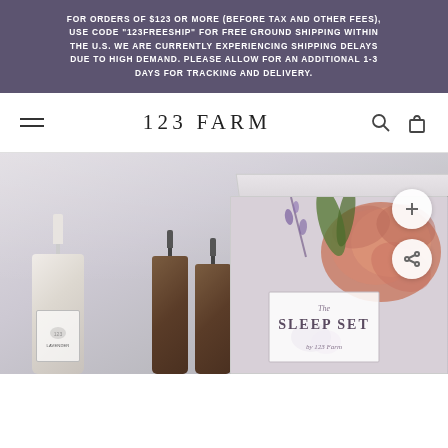FOR ORDERS OF $123 OR MORE (BEFORE TAX AND OTHER FEES), USE CODE "123FREESHIP" FOR FREE GROUND SHIPPING WITHIN THE U.S. WE ARE CURRENTLY EXPERIENCING SHIPPING DELAYS DUE TO HIGH DEMAND. PLEASE ALLOW FOR AN ADDITIONAL 1-3 DAYS FOR TRACKING AND DELIVERY.
123 FARM
[Figure (photo): Product photo showing a white lotion pump bottle, two amber spray bottles, and a floral-decorated gift box labeled 'The Sleep Set by 123 Farm' against a light gray/lavender background.]